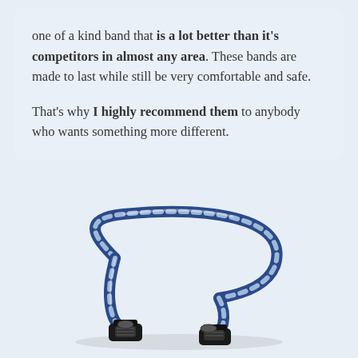one of a kind band that is a lot better than it's competitors in almost any area. These bands are made to last while still be very comfortable and safe.

That's why I highly recommend them to anybody who wants something more different.
[Figure (photo): Photo of a blue and white braided resistance band with black handles]